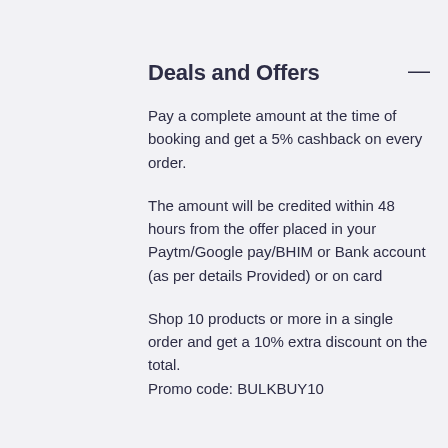Deals and Offers
Pay a complete amount at the time of booking and get a 5% cashback on every order.
The amount will be credited within 48 hours from the offer placed in your Paytm/Google pay/BHIM or Bank account (as per details Provided) or on card
Shop 10 products or more in a single order and get a 10% extra discount on the total.
Promo code: BULKBUY10